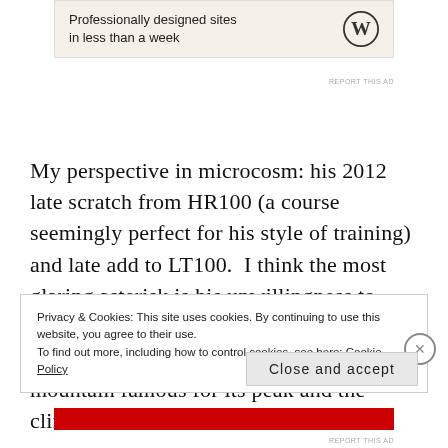[Figure (other): Advertisement banner with text 'Professionally designed sites in less than a week' and WordPress logo]
My perspective in microcosm: his 2012 late scratch from HR100 (a course seemingly perfect for his style of training) and late add to LT100.  I think the most glaring asterisk is his unwillingness to race PPM.  He had ample opportunity to go head-to-head with MC, racing up a mountain famous for its peak and the climb
Privacy & Cookies: This site uses cookies. By continuing to use this website, you agree to their use.
To find out more, including how to control cookies, see here: Cookie Policy